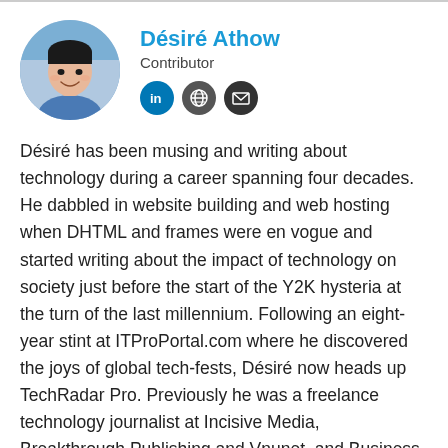[Figure (photo): Circular profile photo of Désiré Athow, a man smiling, wearing a blue shirt, outdoors background]
Désiré Athow
Contributor
[Figure (other): Three social media icons: LinkedIn (blue circle with 'in'), Globe (dark circle), Email envelope (dark circle)]
Désiré has been musing and writing about technology during a career spanning four decades. He dabbled in website building and web hosting when DHTML and frames were en vogue and started writing about the impact of technology on society just before the start of the Y2K hysteria at the turn of the last millennium. Following an eight-year stint at ITProPortal.com where he discovered the joys of global tech-fests, Désiré now heads up TechRadar Pro. Previously he was a freelance technology journalist at Incisive Media, Breakthrough Publishing and Vnunet, and Business Magazine.